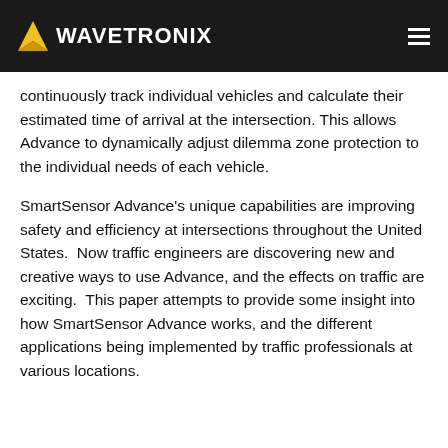WAVETRONIX
continuously track individual vehicles and calculate their estimated time of arrival at the intersection. This allows Advance to dynamically adjust dilemma zone protection to the individual needs of each vehicle.
SmartSensor Advance's unique capabilities are improving safety and efficiency at intersections throughout the United States.  Now traffic engineers are discovering new and creative ways to use Advance, and the effects on traffic are exciting.  This paper attempts to provide some insight into how SmartSensor Advance works, and the different applications being implemented by traffic professionals at various locations.